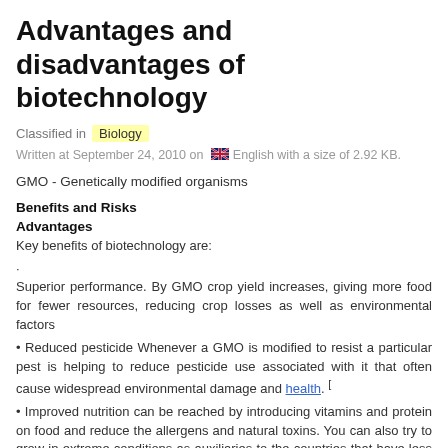Advantages and disadvantages of biotechnology
Classified in  Biology
Written at September 24, 2010 on  English with a size of 2.92 KB.
GMO - Genetically modified organisms
Benefits and Risks
Advantages
Key benefits of biotechnology are:
Superior performance. By GMO crop yield increases, giving more food for fewer resources, reducing crop losses as well as environmental factors
• Reduced pesticide Whenever a GMO is modified to resist a particular pest is helping to reduce pesticide use associated with it that often cause widespread environmental damage and health. [
• Improved nutrition can be reached by introducing vitamins and protein on food and reduce the allergens and natural toxins. You can also try to grow in extreme conditions as auxiliaries to the countries that have less food available.
Improves the development of new materiales.La application of biotechnology...
CONTINUE READING "ADVANTAGES AND DISADVANTAGES OF